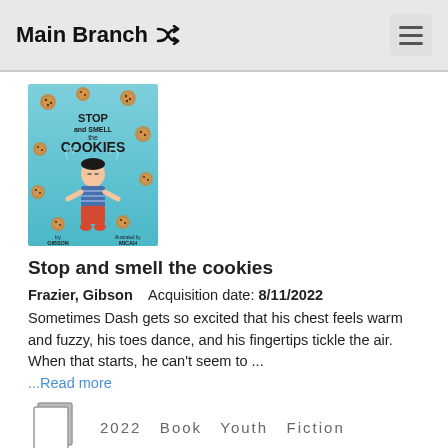Main Branch
[Figure (illustration): Book cover for 'Stop and Smell the Cookies' showing a boy in a striped shirt surrounded by floating cookies on a blue background, authored by Gibson Frazier, illustrated by Micah Player.]
Stop and smell the cookies
Frazier, Gibson    Acquisition date: 8/11/2022
Sometimes Dash gets so excited that his chest feels warm and fuzzy, his toes dance, and his fingertips tickle the air. When that starts, he can't seem to ...
...Read more
2022   Book   Youth   Fiction